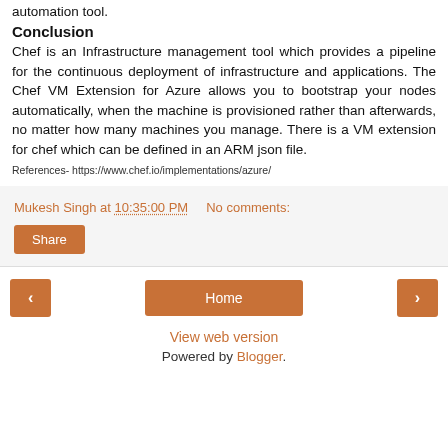automation tool.
Conclusion
Chef is an Infrastructure management tool which provides a pipeline for the continuous deployment of infrastructure and applications. The Chef VM Extension for Azure allows you to bootstrap your nodes automatically, when the machine is provisioned rather than afterwards, no matter how many machines you manage. There is a VM extension for chef which can be defined in an ARM json file.
References- https://www.chef.io/implementations/azure/
Mukesh Singh at 10:35:00 PM    No comments:
Share
< Home >
View web version
Powered by Blogger.